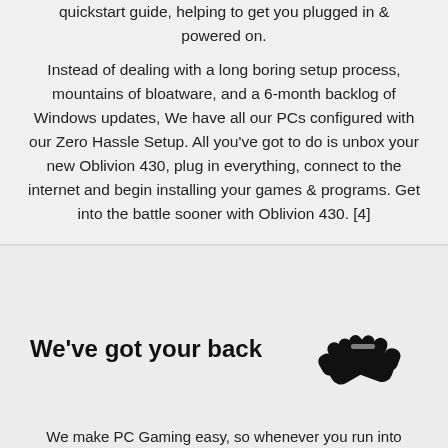quickstart guide, helping to get you plugged in & powered on.
Instead of dealing with a long boring setup process, mountains of bloatware, and a 6-month backlog of Windows updates, We have all our PCs configured with our Zero Hassle Setup. All you've got to do is unbox your new Oblivion 430, plug in everything, connect to the internet and begin installing your games & programs. Get into the battle sooner with Oblivion 430. [4]
We've got your back
[Figure (illustration): Black icon of two hands shaking or clasping in a handshake/support gesture]
We make PC Gaming easy, so whenever you run into